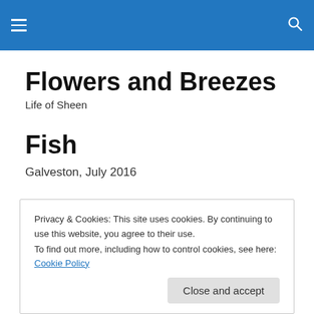≡  🔍
Flowers and Breezes
Life of Sheen
Fish
Galveston, July 2016
Privacy & Cookies: This site uses cookies. By continuing to use this website, you agree to their use.
To find out more, including how to control cookies, see here: Cookie Policy
Close and accept